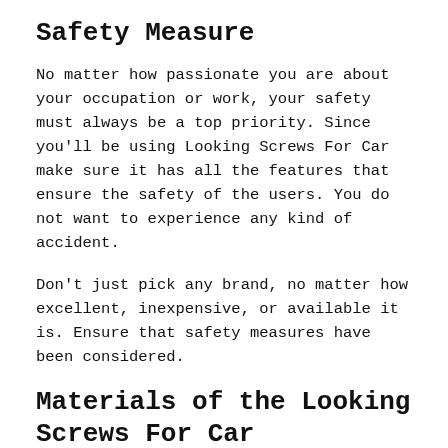Safety Measure
No matter how passionate you are about your occupation or work, your safety must always be a top priority. Since you'll be using Looking Screws For Car make sure it has all the features that ensure the safety of the users. You do not want to experience any kind of accident.
Don't just pick any brand, no matter how excellent, inexpensive, or available it is. Ensure that safety measures have been considered.
Materials of the Looking Screws For Car
We advise not to buy products from brands